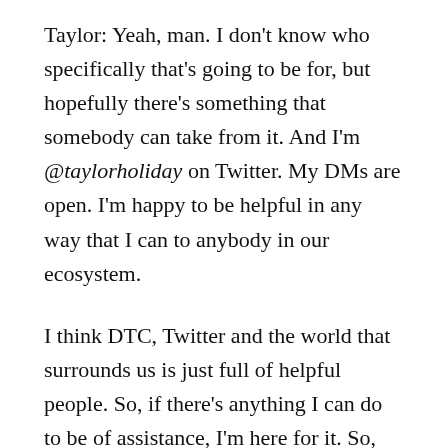Taylor: Yeah, man. I don't know who specifically that's going to be for, but hopefully there's something that somebody can take from it. And I'm @taylorholiday on Twitter. My DMs are open. I'm happy to be helpful in any way that I can to anybody in our ecosystem.
I think DTC, Twitter and the world that surrounds us is just full of helpful people. So, if there's anything I can do to be of assistance, I'm here for it. So, thank you, guys.
Roger: Amazing. And Taylor is going to